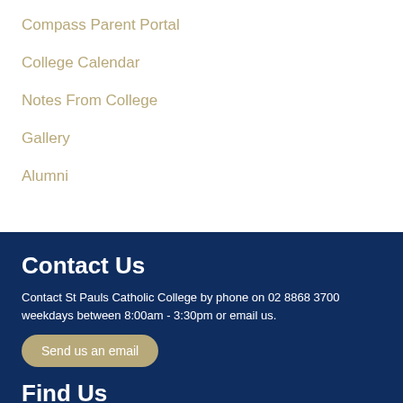Compass Parent Portal
College Calendar
Notes From College
Gallery
Alumni
Contact Us
Contact St Pauls Catholic College by phone on 02 8868 3700 weekdays between 8:00am - 3:30pm or email us.
Send us an email
Find Us